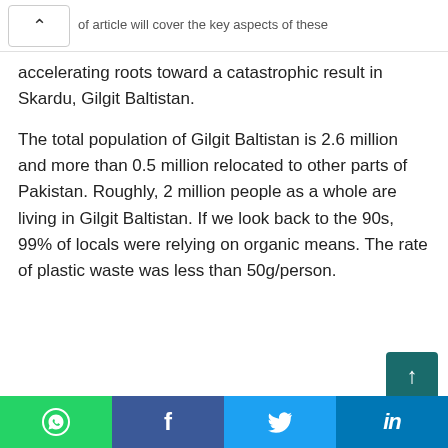of article will cover the key aspects of these
accelerating roots toward a catastrophic result in Skardu, Gilgit Baltistan.
The total population of Gilgit Baltistan is 2.6 million and more than 0.5 million relocated to other parts of Pakistan. Roughly, 2 million people as a whole are living in Gilgit Baltistan. If we look back to the 90s, 99% of locals were relying on organic means. The rate of plastic waste was less than 50g/person.
Social share buttons: WhatsApp, Facebook, Twitter, LinkedIn